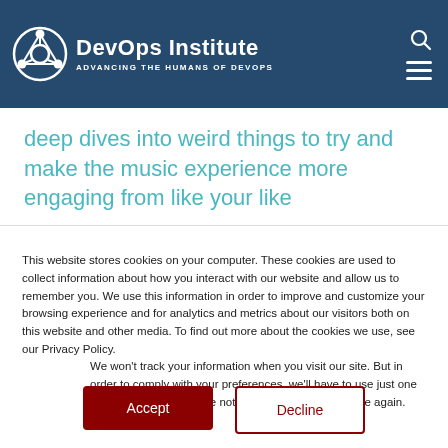[Figure (logo): DevOps Institute logo with gear/network icon, text 'DevOps Institute' and 'ADVANCING THE HUMANS OF DEVOPS' on dark blue background with search and hamburger menu icons]
deep dives into weird things to try and make the music experience more engaging from like your like
This website stores cookies on your computer. These cookies are used to collect information about how you interact with our website and allow us to remember you. We use this information in order to improve and customize your browsing experience and for analytics and metrics about our visitors both on this website and other media. To find out more about the cookies we use, see our Privacy Policy.
We won't track your information when you visit our site. But in order to comply with your preferences, we'll have to use just one tiny cookie so that you're not asked to make this choice again.
Accept
Decline